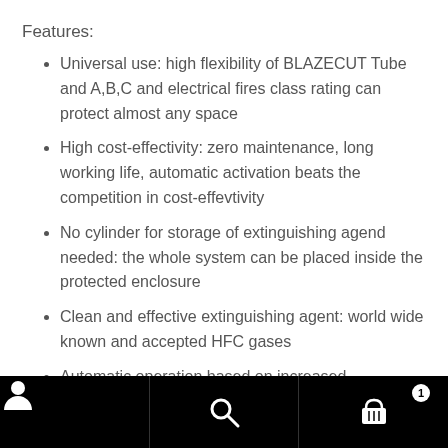Features:
Universal use: high flexibility of BLAZECUT Tube and A,B,C and electrical fires class rating can protect almost any space
High cost-effectivity: zero maintenance, long working life, automatic activation beats the competition in cost-effevtivity
No cylinder for storage of extinguishing agend needed: the whole system can be placed inside the protected enclosure
Clean and effective extinguishing agent: world wide known and accepted HFC gases
Automatic operation based on increased temperature: ideal for non-occupied spaces or